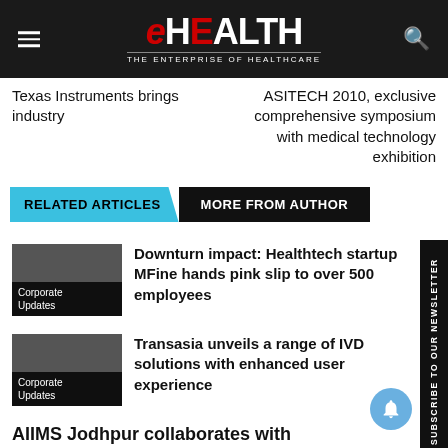[Figure (logo): eHEALTH magazine logo with tagline 'THE ENTERPRISE OF HEALTHCARE' on dark header bar]
Texas Instruments brings industry
ASITECH 2010, exclusive comprehensive symposium with medical technology exhibition
RELATED ARTICLES   MORE FROM AUTHOR
Downturn impact: Healthtech startup MFine hands pink slip to over 500 employees
Transasia unveils a range of IVD solutions with enhanced user experience
AIIMS Jodhpur collaborates with